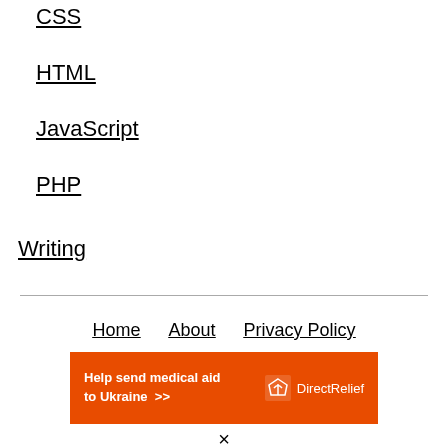CSS
HTML
JavaScript
PHP
Writing
Home   About   Privacy Policy
[Figure (infographic): Orange banner ad: 'Help send medical aid to Ukraine >>' with Direct Relief logo and name on the right]
×